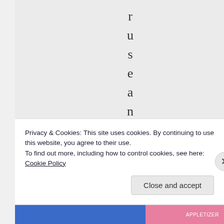r u s e a n d d e c
Privacy & Cookies: This site uses cookies. By continuing to use this website, you agree to their use.
To find out more, including how to control cookies, see here: Cookie Policy
Close and accept